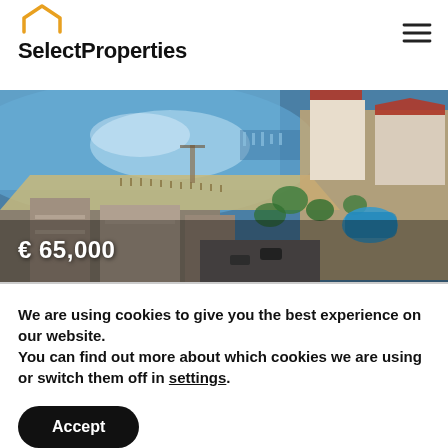[Figure (logo): SelectProperties logo with orange house icon and bold black text]
[Figure (photo): Aerial view of a coastal resort with beach, marina, swimming pool, and residential buildings. Price overlay showing € 65,000]
We are using cookies to give you the best experience on our website.
You can find out more about which cookies we are using or switch them off in settings.
Accept